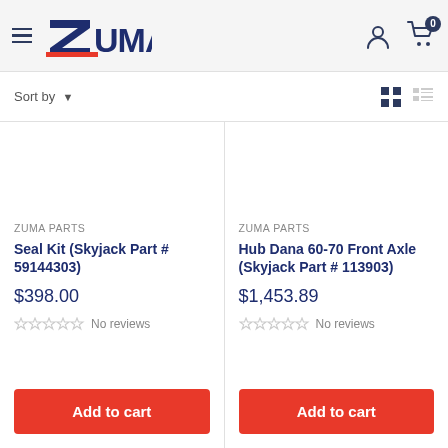ZUMA — navigation header with hamburger menu, logo, user icon, cart (0)
Sort by ▾
[Figure (screenshot): Product listing cards for Zuma Parts: (1) Seal Kit (Skyjack Part # 59144303) $398.00 No reviews Add to cart; (2) Hub Dana 60-70 Front Axle (Skyjack Part # 113903) $1,453.89 No reviews Add to cart]